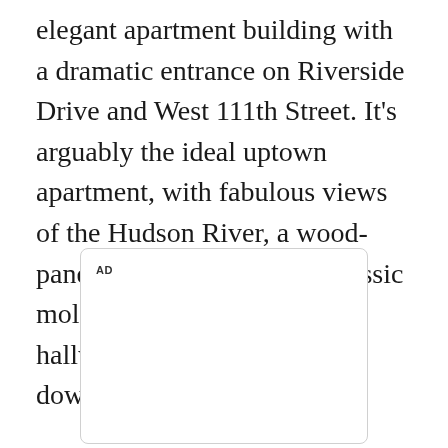elegant apartment building with a dramatic entrance on Riverside Drive and West 111th Street. It's arguably the ideal uptown apartment, with fabulous views of the Hudson River, a wood-paneled library, fireplace, classic moldings, and a bedroom hallway that you could bowl down.
[Figure (other): Advertisement placeholder box with 'AD' label in upper left corner]